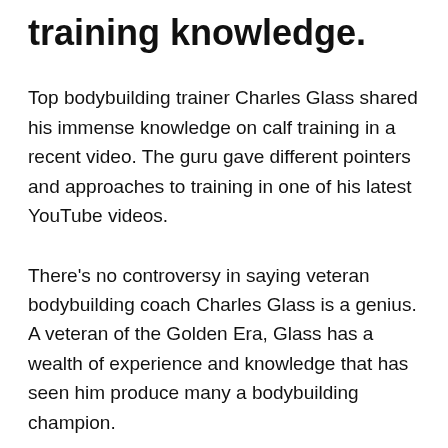training knowledge.
Top bodybuilding trainer Charles Glass shared his immense knowledge on calf training in a recent video. The guru gave different pointers and approaches to training in one of his latest YouTube videos.
There's no controversy in saying veteran bodybuilding coach Charles Glass is a genius. A veteran of the Golden Era, Glass has a wealth of experience and knowledge that has seen him produce many a bodybuilding champion.
Variety is a Spice
When comes to building quality muscle one must be open minded to the possibilities. You can't hope to build